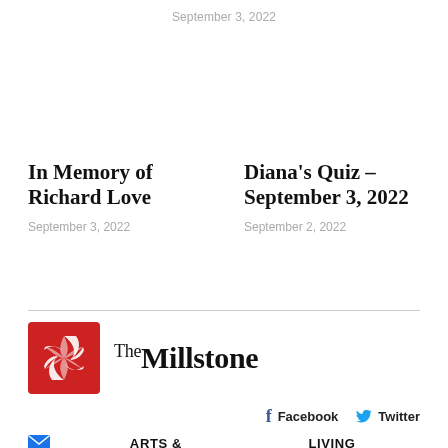September 3, 2022
In Memory of Richard Love
September 3, 2022
Diana's Quiz – September 3, 2022
September 2, 2022
[Figure (logo): The Millstone newspaper logo: red square with white spiral/shutter icon, next to 'The Millstone' in serif text]
Facebook   Twitter
ARTS &   LIVING